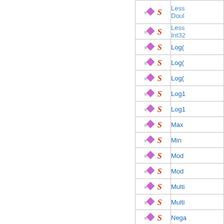|  | Icons | Name |
| --- | --- | --- |
|  | ♦ S | LessThan Double |
|  | ♦ S | LessThan Int32 |
|  | ♦ S | Log( |
|  | ♦ S | Log( |
|  | ♦ S | Log( |
|  | ♦ S | Log1 |
|  | ♦ S | Log1 |
|  | ♦ S | Max |
|  | ♦ S | Min |
|  | ♦ S | Mod |
|  | ♦ S | Mod |
|  | ♦ S | Multi |
|  | ♦ S | Multi |
|  | ♦ S | Nega |
|  | ♦ S | Nega |
|  |  |  |